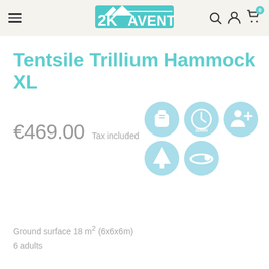2KAventure navigation header with hamburger menu, logo, search, account, and cart icons
Tentsile Trillium Hammock XL
€469.00  Tax included
[Figure (illustration): Five light-blue circular icons: backpack, 10MIN setup clock, person-plus, tree/forest, and sleeping-bag/hammock]
Ground surface 18 m² (6x6x6m)
6 adults